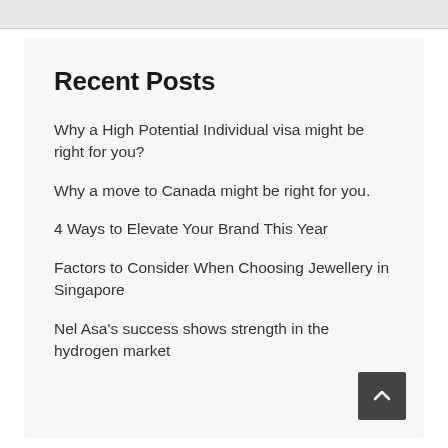Recent Posts
Why a High Potential Individual visa might be right for you?
Why a move to Canada might be right for you.
4 Ways to Elevate Your Brand This Year
Factors to Consider When Choosing Jewellery in Singapore
Nel Asa's success shows strength in the hydrogen market